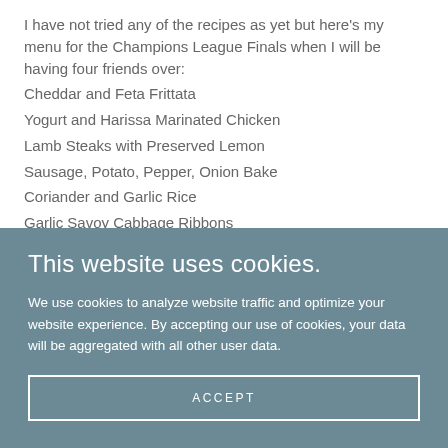I have not tried any of the recipes as yet but here's my menu for the Champions League Finals when I will be having four friends over:
Cheddar and Feta Frittata
Yogurt and Harissa Marinated Chicken
Lamb Steaks with Preserved Lemon
Sausage, Potato, Pepper, Onion Bake
Coriander and Garlic Rice
Garlic Savoy Cabbage Ribbons
This website uses cookies.
We use cookies to analyze website traffic and optimize your website experience. By accepting our use of cookies, your data will be aggregated with all other user data.
ACCEPT